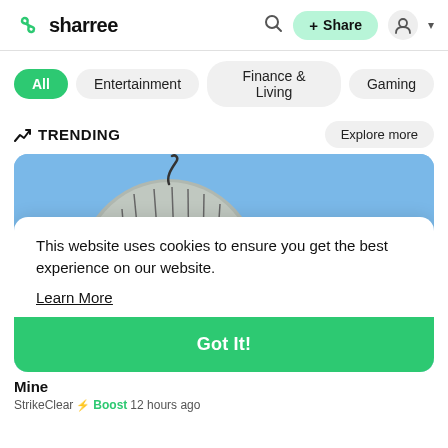sharree
All
Entertainment
Finance & Living
Gaming
TRENDING
Explore more
[Figure (illustration): Cartoon illustration on blue background showing a large melon/cantaloupe and text ELAINA in bold white outlined letters]
This website uses cookies to ensure you get the best experience on our website.
Learn More
Got It!
Mine
StrikeClear  Boost 12 hours ago